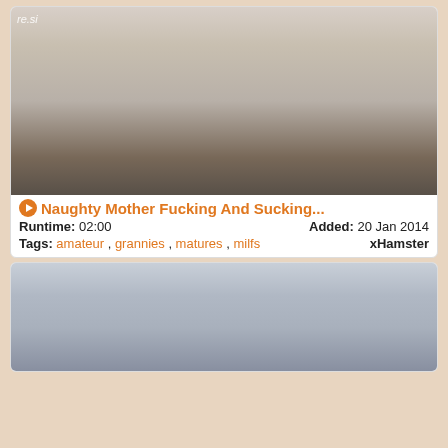[Figure (photo): Video thumbnail showing a medical office scene with two people]
Naughty Mother Fucking And Sucking...
Runtime: 02:00   Added: 20 Jan 2014
Tags: amateur , grannies , matures , milfs   xHamster
[Figure (photo): Video thumbnail showing two people in a medical/office setting]